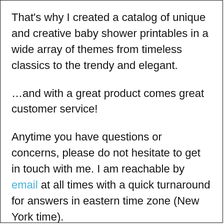That's why I created a catalog of unique and creative baby shower printables in a wide array of themes from timeless classics to the trendy and elegant.
…and with a great product comes great customer service!
Anytime you have questions or concerns, please do not hesitate to get in touch with me. I am reachable by email at all times with a quick turnaround for answers in eastern time zone (New York time).
A phone number is also made available to customers who placed an order. The number is in your PayPal payment receipt